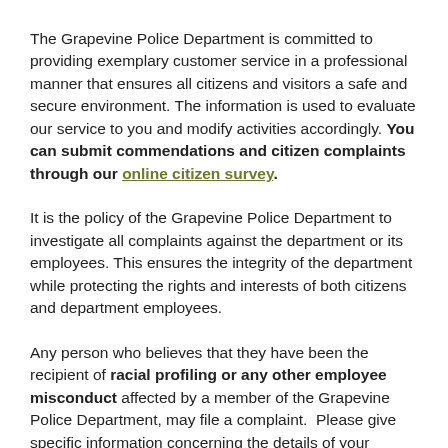The Grapevine Police Department is committed to providing exemplary customer service in a professional manner that ensures all citizens and visitors a safe and secure environment. The information is used to evaluate our service to you and modify activities accordingly. You can submit commendations and citizen complaints through our online citizen survey.
It is the policy of the Grapevine Police Department to investigate all complaints against the department or its employees. This ensures the integrity of the department while protecting the rights and interests of both citizens and department employees.
Any person who believes that they have been the recipient of racial profiling or any other employee misconduct affected by a member of the Grapevine Police Department, may file a complaint.  Please give specific information concerning the details of your misconduct allegation. By completing the form you are certifying that the information